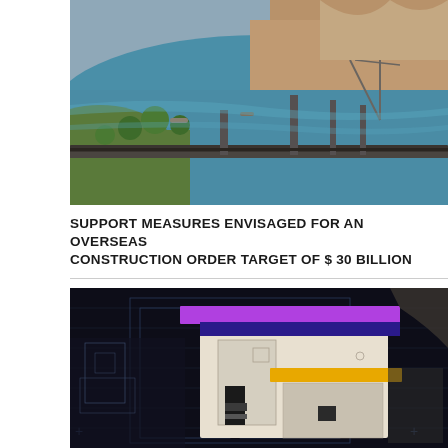[Figure (photo): Aerial photograph of a long bridge or dam structure spanning a wide river, with green vegetation on the left bank and arid reddish terrain on the right, boats visible on the water.]
SUPPORT MEASURES ENVISAGED FOR AN OVERSEAS CONSTRUCTION ORDER TARGET OF $ 30 BILLION
[Figure (illustration): Dark background illustration of architectural or engineering blueprint-style design with purple, dark blue, and yellow/gold horizontal bands overlaid on a schematic building elevation drawn in white lines.]